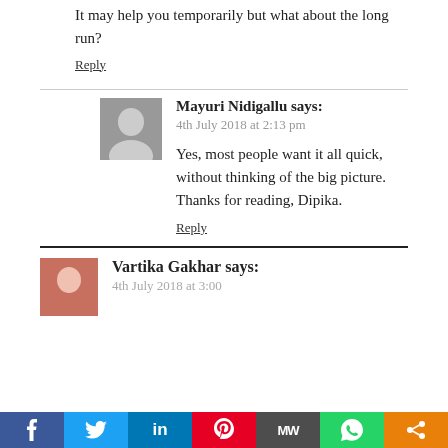It may help you temporarily but what about the long run?
Reply
Mayuri Nidigallu says:
4th July 2018 at 2:13 pm
Yes, most people want it all quick, without thinking of the big picture. Thanks for reading, Dipika.
Reply
Vartika Gakhar says: